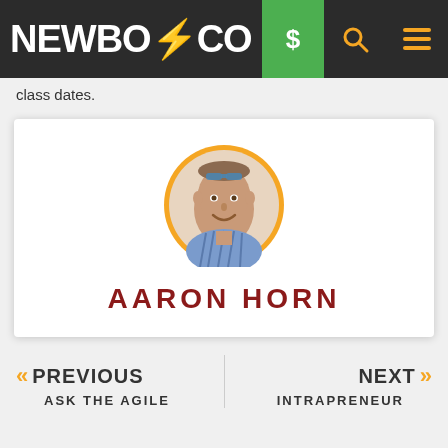NEWBO⚡CO
class dates.
[Figure (photo): Profile photo of Aaron Horn, a man wearing a plaid shirt with sunglasses on his head, shown in a circular frame with orange border]
AARON HORN
« PREVIOUS
ASK THE AGILE
NEXT »
INTRAPRENEUR